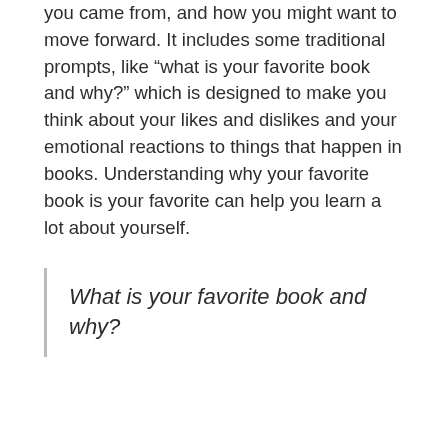you came from, and how you might want to move forward. It includes some traditional prompts, like “what is your favorite book and why?” which is designed to make you think about your likes and dislikes and your emotional reactions to things that happen in books. Understanding why your favorite book is your favorite can help you learn a lot about yourself.
What is your favorite book and why?